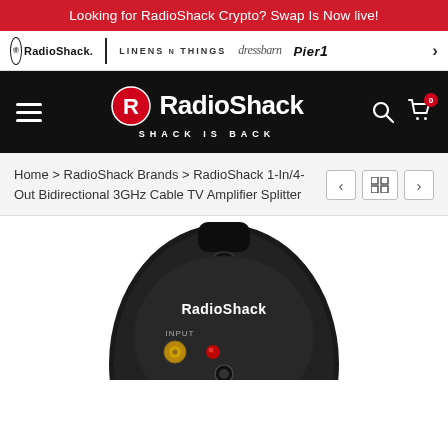Looking for RadioShack Crypto? Swap Is Now live!
® RadioShack  LINENS N THINGS  dressbarn  Pier1  >
RadioShack SHACK IS BACK
Home > RadioShack Brands > RadioShack 1-In/4-Out Bidirectional 3GHz Cable TV Amplifier Splitter
[Figure (photo): RadioShack 1-In/4-Out Bidirectional 3GHz Cable TV Amplifier Splitter product photo showing the top/front of a black oval-shaped device with a coaxial input connector labeled INPUT, a red LED indicator light, and the RadioShack brand name on the body.]